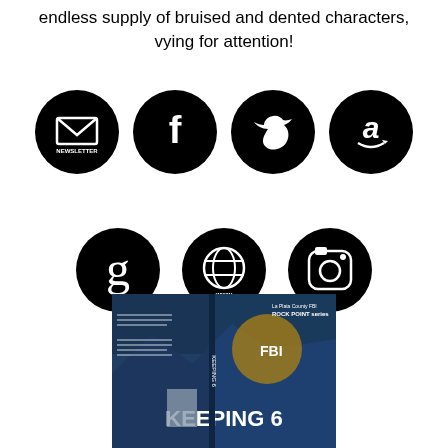endless supply of bruised and dented characters, vying for attention!
[Figure (illustration): Row of four black circle social media icons: Newsletter (envelope), Facebook (f), Twitter (bird), Amazon (a)]
[Figure (illustration): Row of three black circle social media icons: Goodreads (g), Website (www globe), Instagram (camera)]
[Figure (photo): Book cover of 'Keeping 6' showing FBI badge, mountain landscape, and author photo]